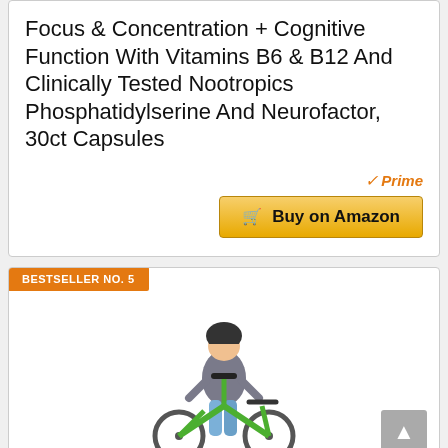Focus & Concentration + Cognitive Function With Vitamins B6 & B12 And Clinically Tested Nootropics Phosphatidylserine And Neurofactor, 30ct Capsules
Prime
Buy on Amazon
BESTSELLER NO. 5
[Figure (photo): Child riding a green balance bike wearing a helmet]